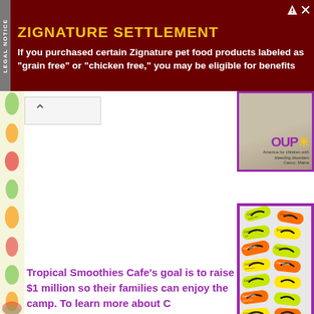[Figure (screenshot): Legal notice advertisement banner with dark red background. Yellow bold title 'ZIGNATURE SETTLEMENT' with white body text: 'If you purchased certain Zignature pet food products labeled as "grain free" or "chicken free," you may be eligible for benefits'. Has a vertical 'LEGAL NOTICE' tab on the left in gray.]
[Figure (screenshot): Partial screenshot of a webpage showing a purple-bordered image area at upper right with a partial logo, and a large purple-bordered image of colorful flip flop shaped name tags/cards in green, yellow, and orange arranged on a wall. Left side has a decorative floral/fruit strip. Bottom shows partial text about Tropical Smoothies Cafe.]
Tropical Smoothies Cafe's goal is to raise $1 million so their families can enjoy the camp. To learn more about C https://www.campsunshine.org which is located in Casc